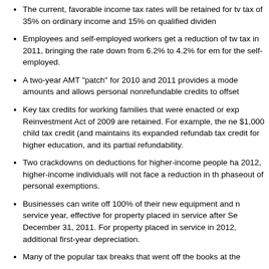The current, favorable income tax rates will be retained for tw tax of 35% on ordinary income and 15% on qualified dividen
Employees and self-employed workers get a reduction of tw tax in 2011, bringing the rate down from 6.2% to 4.2% for en for the self-employed.
A two-year AMT "patch" for 2010 and 2011 provides a mode amounts and allows personal nonrefundable credits to offset
Key tax credits for working families that were enacted or exp Reinvestment Act of 2009 are retained. For example, the ne $1,000 child tax credit (and maintains its expanded refundab tax credit for higher education, and its partial refundability.
Two crackdowns on deductions for higher-income people ha 2012, higher-income individuals will not face a reduction in th phaseout of personal exemptions.
Businesses can write off 100% of their new equipment and n service year, effective for property placed in service after Se December 31, 2011. For property placed in service in 2012, additional first-year depreciation.
Many of the popular tax breaks that went off the books at the